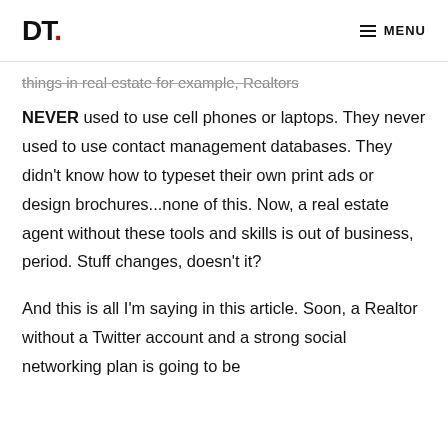DT. MENU
things in real estate for example, Realtors
NEVER used to use cell phones or laptops. They never used to use contact management databases. They didn't know how to typeset their own print ads or design brochures...none of this. Now, a real estate agent without these tools and skills is out of business, period. Stuff changes, doesn't it?
And this is all I'm saying in this article. Soon, a Realtor without a Twitter account and a strong social networking plan is going to be